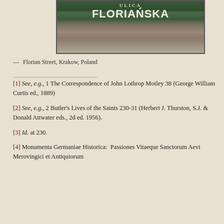[Figure (photo): Street sign reading ULICA FLORIAŃSKA (Florian Street) in Krakow, Poland, mounted on a stone wall]
— Florian Street, Krakow, Poland
[1] See, e.g., 1 The Correspondence of John Lothrop Motley 38 (George William Curtis ed., 1889)
[2] See, e.g., 2 Butler's Lives of the Saints 230-31 (Herbert J. Thurston, S.J. & Donald Attwater eds., 2d ed. 1956).
[3] Id. at 230.
[4] Monumenta Germaniae Historica:  Passiones Vitaeque Sanctorum Aevi Merovingici et Antiquiorum